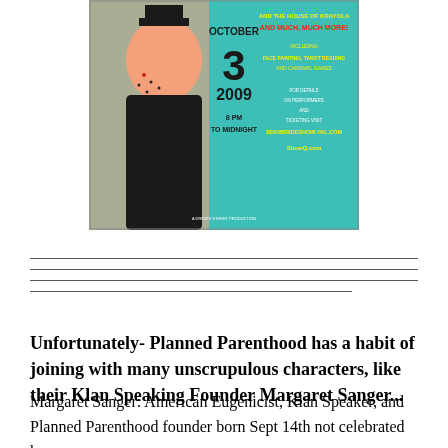[Figure (illustration): Colorful event poster for a burlesque/sideshow show on October 3, 2009, 8 PM to Midnight, featuring illustrated tattooed figure, text about face painting, tarot reading, carnival games, and website information.]
Unfortunately- Planned Parenthood has a habit of joining with many unscrupulous characters, like their Klan Speaking Founder Margaret Sanger...
Margaret Sanger: American Eugenicist, Klan Speaker, and Planned Parenthood founder born Sept 14th not celebrated here